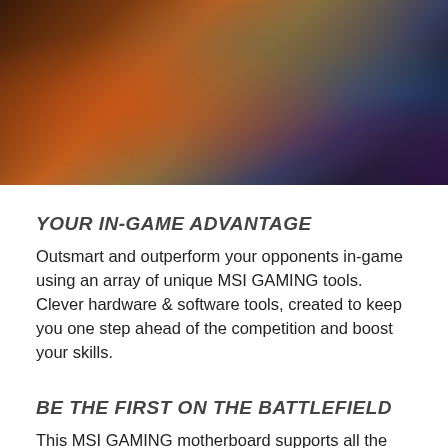[Figure (photo): Dark atmospheric gaming image showing armored character with glowing fire and blue/purple lighting effects]
YOUR IN-GAME ADVANTAGE
Outsmart and outperform your opponents in-game using an array of unique MSI GAMING tools. Clever hardware & software tools, created to keep you one step ahead of the competition and boost your skills.
BE THE FIRST ON THE BATTLEFIELD
This MSI GAMING motherboard supports all the latest storage standards. This allows you to connect any ultra-fast storage device, giving you in-game benefits. Start